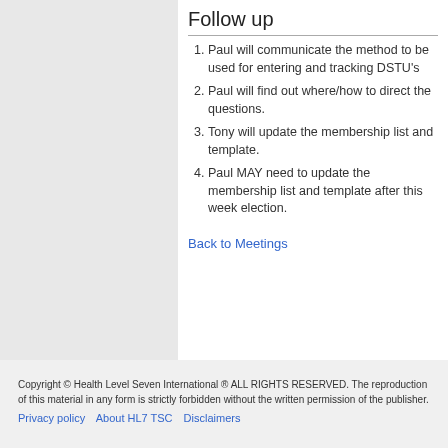Follow up
Paul will communicate the method to be used for entering and tracking DSTU's
Paul will find out where/how to direct the questions.
Tony will update the membership list and template.
Paul MAY need to update the membership list and template after this week election.
Back to Meetings
Copyright © Health Level Seven International ® ALL RIGHTS RESERVED. The reproduction of this material in any form is strictly forbidden without the written permission of the publisher.
Privacy policy | About HL7 TSC | Disclaimers